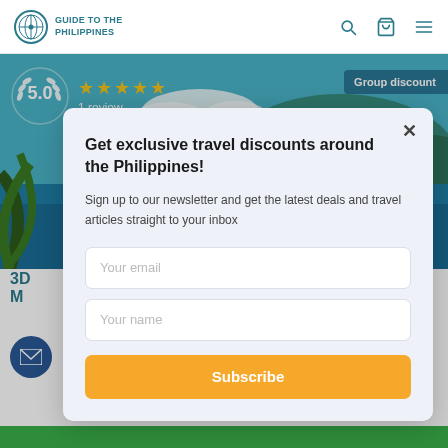GUIDE TO THE PHILIPPINES
[Figure (screenshot): Travel website screenshot showing a hero beach/ocean image with rating badge (5.0, 5 stars, 1 review) and Group discount label, overlaid by a newsletter signup modal]
Get exclusive travel discounts around the Philippines!
Sign up to our newsletter and get the latest deals and travel articles straight to your inbox
Your email
Your name
Subscribe